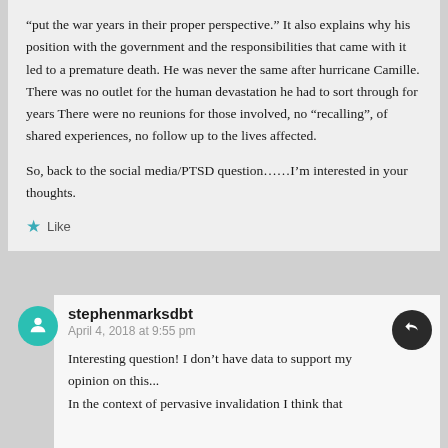“put the war years in their proper perspective.” It also explains why his position with the government and the responsibilities that came with it led to a premature death. He was never the same after hurricane Camille. There was no outlet for the human devastation he had to sort through for years There were no reunions for those involved, no “recalling”, of shared experiences, no follow up to the lives affected.
So, back to the social media/PTSD question…..I’m interested in your thoughts.
Like
stephenmarksdbt
April 4, 2018 at 9:55 pm
Interesting question! I don’t have data to support my opinion on this...
In the context of pervasive invalidation I think that